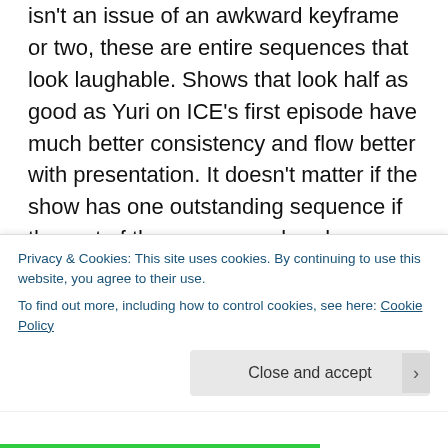isn't an issue of an awkward keyframe or two, these are entire sequences that look laughable. Shows that look half as good as Yuri on ICE's first episode have much better consistency and flow better with presentation. It doesn't matter if the show has one outstanding sequence if the rest of the sequences barely pass when it comes to structure. Characters' limbs morph and melt frequently, with more and more obviousness to how the ice-skating sequences were rodo-scoped and traced from live performances. This isn't just a case of a couple goofy-looking cells, most if not all the later episodes have noticeably sub-par animation. Even though many
Privacy & Cookies: This site uses cookies. By continuing to use this website, you agree to their use.
To find out more, including how to control cookies, see here: Cookie Policy
Close and accept